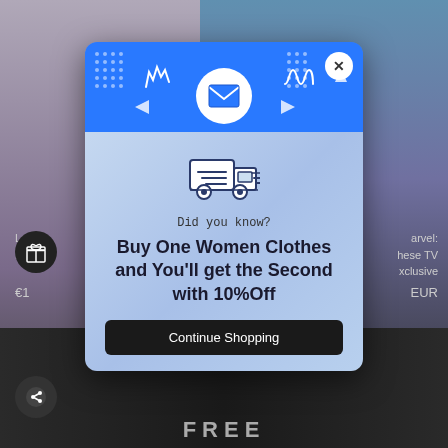[Figure (screenshot): E-commerce website screenshot showing product listings (women's clothing on left, Marvel collectible on right) with a promotional popup modal overlay in the center.]
Did you know?
Buy One Women Clothes and You'll get the Second with 10%Off
Continue Shopping